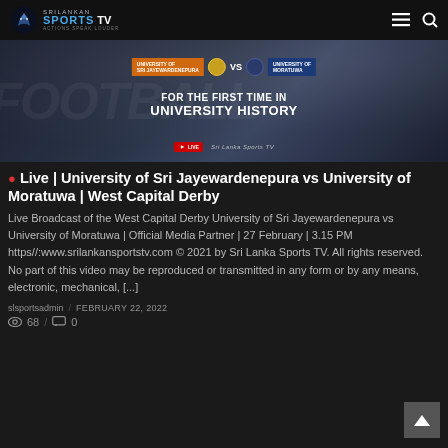SriLankan Sports TV — Actions Speak Louder
[Figure (screenshot): Promotional thumbnail showing University of Sri Jayewardenepura vs University of Moratuwa, with text 'For the First Time in University History', YouTube Live badge, and SportsTV watermark.]
🔴 Live | University of Sri Jayewardenepura vs University of Moratuwa | West Capital Derby
Live Broadcast of the West Capital Derby University of Sri Jayewardenepura vs University of Moratuwa | Official Media Partner | 27 February | 3.15 PM https//:www.srilankansportstv.com © 2021 by Sri Lanka Sports TV. All rights reserved. No part of this video may be reproduced or transmitted in any form or by any means, electronic, mechanical, [...]
slsportsadmin  /  FEBRUARY 22, 2022
👁 68  /  💬 0